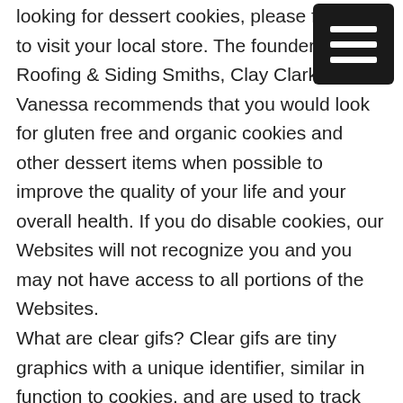looking for dessert cookies, please feel free to visit your local store. The founder of Roofing & Siding Smiths, Clay Clark's wife, Vanessa recommends that you would look for gluten free and organic cookies and other dessert items when possible to improve the quality of your life and your overall health. If you do disable cookies, our Websites will not recognize you and you may not have access to all portions of the Websites. What are clear gifs? Clear gifs are tiny graphics with a unique identifier, similar in function to cookies, and are used to track the online movements of Web users. In contrast to cookies, which are stored on a user's computer hard drive, clear gifs are embedded invisibly on Web pages and are about the size of the full-stop or period at the end of this sentence. We partner with third-party ad networks to